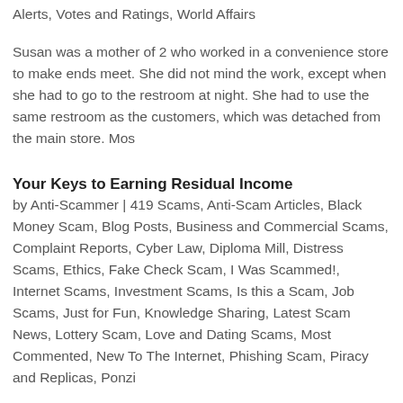Alerts, Votes and Ratings, World Affairs
Susan was a mother of 2 who worked in a convenience store to make ends meet. She did not mind the work, except when she had to go to the restroom at night. She had to use the same restroom as the customers, which was detached from the main store. Mos
Your Keys to Earning Residual Income
by Anti-Scammer | 419 Scams, Anti-Scam Articles, Black Money Scam, Blog Posts, Business and Commercial Scams, Complaint Reports, Cyber Law, Diploma Mill, Distress Scams, Ethics, Fake Check Scam, I Was Scammed!, Internet Scams, Investment Scams, Is this a Scam, Job Scams, Just for Fun, Knowledge Sharing, Latest Scam News, Lottery Scam, Love and Dating Scams, Most Commented, New To The Internet, Phishing Scam, Piracy and Replicas, Ponzi